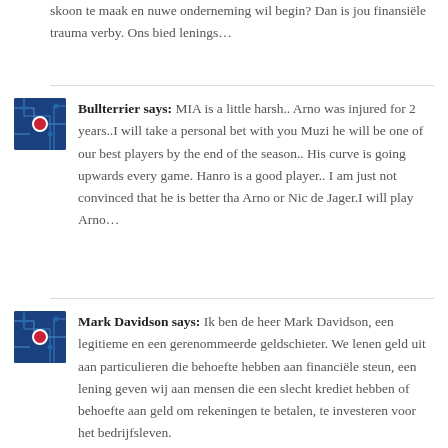skoon te maak en nuwe onderneming wil begin? Dan is jou finansiële trauma verby. Ons bied lenings…
Bullterrier says: MIA is a little harsh.. Arno was injured for 2 years..I will take a personal bet with you Muzi he will be one of our best players by the end of the season.. His curve is going upwards every game. Hanro is a good player.. I am just not convinced that he is better tha Arno or Nic de Jager.I will play Arno…
Mark Davidson says: Ik ben de heer Mark Davidson, een legitieme en een gerenommeerde geldschieter. We lenen geld uit aan particulieren die behoefte hebben aan financiële steun, een lening geven wij aan mensen die een slecht krediet hebben of behoefte aan geld om rekeningen te betalen, te investeren voor het bedrijfsleven.